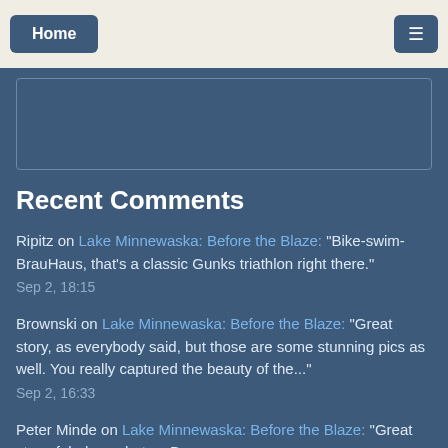Home
Recent Comments
Ripitz on Lake Minnewaska: Before the Blaze: “Bike-swim-BrauHaus, that’s a classic Gunks triathlon right there.” Sep 2, 18:15
Brownski on Lake Minnewaska: Before the Blaze: “Great story, as everybody said, but those are some stunning pics as well. You really captured the beauty of the...” Sep 2, 16:33
Peter Minde on Lake Minnewaska: Before the Blaze: “Great story, fabulous photos. Benny, you